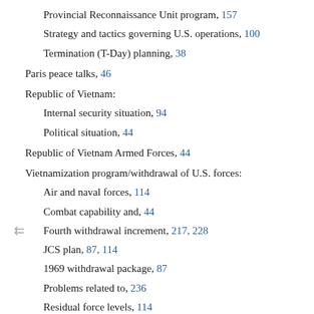Provincial Reconnaissance Unit program, 157
Strategy and tactics governing U.S. operations, 100
Termination (T-Day) planning, 38
Paris peace talks, 46
Republic of Vietnam:
Internal security situation, 94
Political situation, 44
Republic of Vietnam Armed Forces, 44
Vietnamization program/withdrawal of U.S. forces:
Air and naval forces, 114
Combat capability and, 44
Fourth withdrawal increment, 217, 228
JCS plan, 87, 114
1969 withdrawal package, 87
Problems related to, 236
Residual force levels, 114